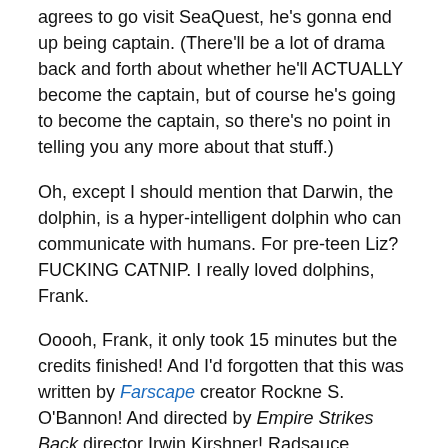agrees to go visit SeaQuest, he's gonna end up being captain. (There'll be a lot of drama back and forth about whether he'll ACTUALLY become the captain, but of course he's going to become the captain, so there's no point in telling you any more about that stuff.)
Oh, except I should mention that Darwin, the dolphin, is a hyper-intelligent dolphin who can communicate with humans. For pre-teen Liz? FUCKING CATNIP. I really loved dolphins, Frank.
Ooooh, Frank, it only took 15 minutes but the credits finished! And I'd forgotten that this was written by Farscape creator Rockne S. O'Bannon! And directed by Empire Strikes Back director Irwin Kirshner! Radsauce.
We're on the SeaQuest now. It has lots of science on board. But also military people! Conflict a'brewing Frank!